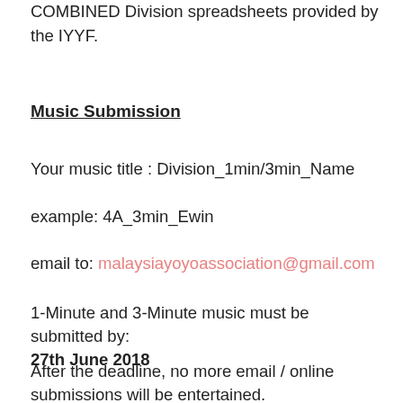COMBINED Division spreadsheets provided by the IYYF.
Music Submission
Your music title : Division_1min/3min_Name
example: 4A_3min_Ewin
email to: malaysiayoyoassociation@gmail.com
1-Minute and 3-Minute music must be submitted by: 27th June 2018
After the deadline, no more email / online submissions will be entertained.